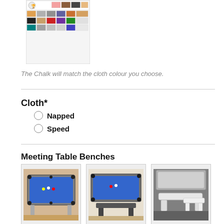[Figure (illustration): Color swatch chart for billiard cloth colors]
The Chalk will match the cloth colour you choose.
Cloth*
Napped
Speed
Meeting Table Benches
[Figure (photo): Three photos of pool/billiard tables with blue felt and bench seating]
Simple Tidy Seating for your table